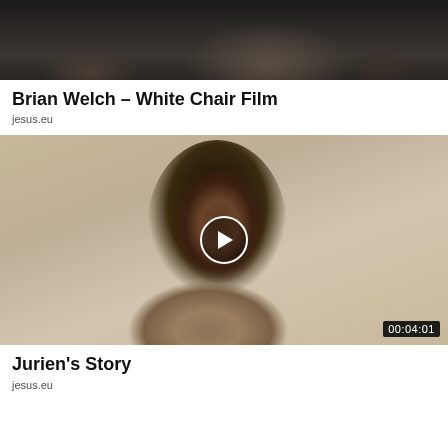[Figure (screenshot): Cropped dark thumbnail image showing hands/fabric from Brian Welch White Chair Film video]
Brian Welch – White Chair Film
jesus.eu
[Figure (photo): Portrait photo of a smiling Black man wearing a tan/beige sweater, with a play button overlay and duration badge showing 00:04:01]
Jurien's Story
jesus.eu